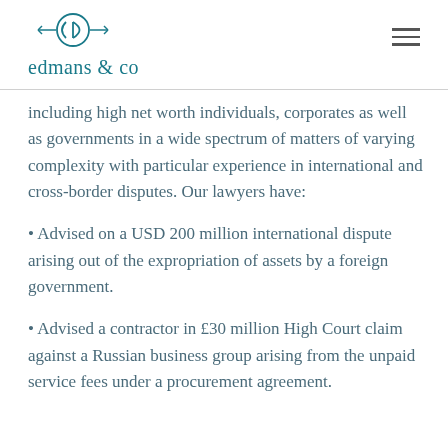edmans & co
including high net worth individuals, corporates as well as governments in a wide spectrum of matters of varying complexity with particular experience in international and cross-border disputes. Our lawyers have:
Advised on a USD 200 million international dispute arising out of the expropriation of assets by a foreign government.
Advised a contractor in £30 million High Court claim against a Russian business group arising from the unpaid service fees under a procurement agreement.